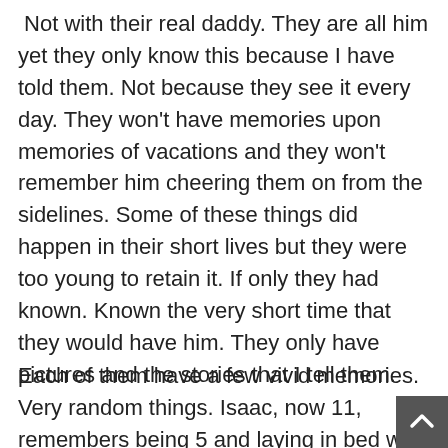Not with their real daddy. They are all him yet they only know this because I have told them. Not because they see it every day. They won't have memories upon memories of vacations and they won't remember him cheering them on from the sidelines. Some of these things did happen in their short lives but they were too young to retain it. If only they had known. Known the very short time that they would have him. They only have pictures and the stories that I tell them.
Each of them have a few vivid memories. Very random things. Isaac, now 11, remembers being 5 and laying in bed with his sick daddy watching